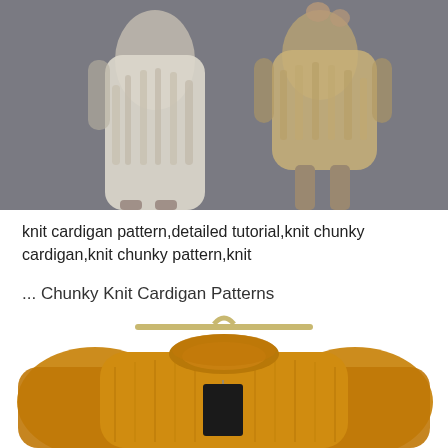[Figure (photo): Two fashion models wearing chunky knit cardigans against a grey background. Left model wears a cream/ivory cable-knit dress, right model wears a tan/beige chunky knit top.]
knit cardigan pattern,detailed tutorial,knit chunky cardigan,knit chunky pattern,knit
... Chunky Knit Cardigan Patterns
[Figure (photo): A mustard/golden yellow chunky knit cardigan/sweater hanging on a wooden hanger with a black price tag attached.]